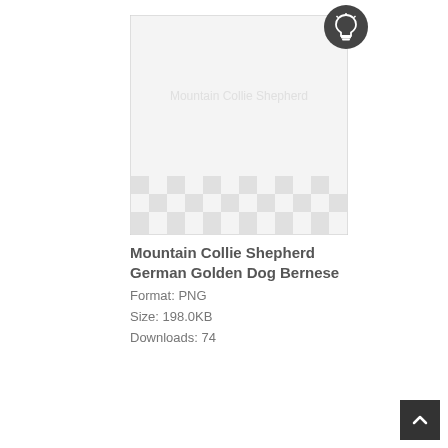[Figure (illustration): A placeholder image thumbnail showing a checkerboard transparency pattern at the bottom portion and a light gray area at the top, with a thin border outline. A dark circular button with a white lightbulb icon appears in the upper right corner of the image area.]
Mountain Collie Shepherd German Golden Dog Bernese
Format: PNG
Size: 198.0KB
Downloads: 74